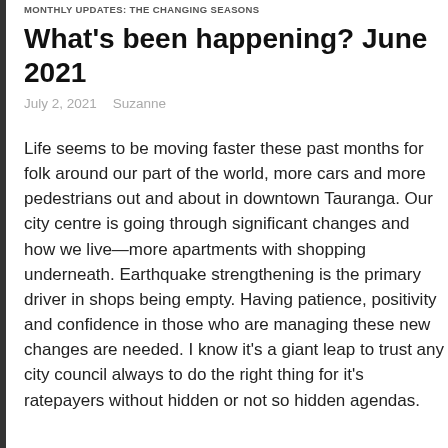MONTHLY UPDATES: THE CHANGING SEASONS
What's been happening? June 2021
July 2, 2021   Suzanne
Life seems to be moving faster these past months for folk around our part of the world, more cars and more pedestrians out and about in downtown Tauranga. Our city centre is going through significant changes and how we live—more apartments with shopping underneath. Earthquake strengthening is the primary driver in shops being empty. Having patience, positivity and confidence in those who are managing these new changes are needed. I know it's a giant leap to trust any city council always to do the right thing for it's ratepayers without hidden or not so hidden agendas.